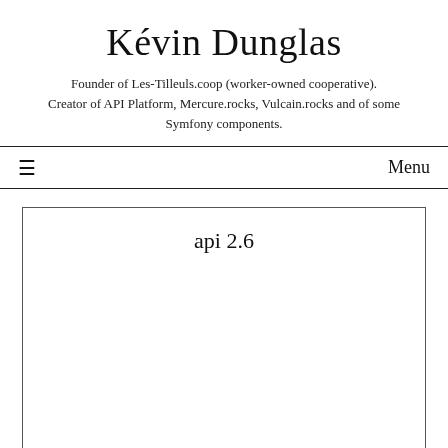Kévin Dunglas
Founder of Les-Tilleuls.coop (worker-owned cooperative). Creator of API Platform, Mercure.rocks, Vulcain.rocks and of some Symfony components.
≡   Menu
api 2.6